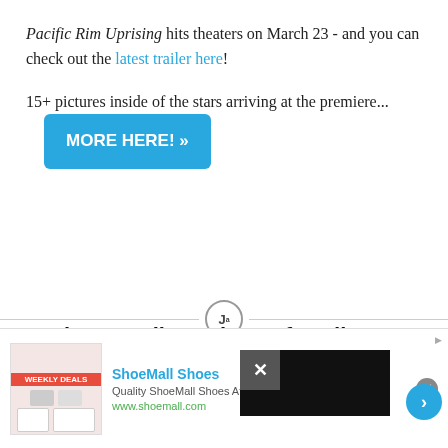Pacific Rim Uprising hits theaters on March 23 - and you can check out the latest trailer here!
15+ pictures inside of the stars arriving at the premiere...
[Figure (other): Blue 'MORE HERE! »' button]
[Figure (other): Divider line with circular icon containing superscript J]
Josh Is Totally Jealous of Andie's Relationship in 'Foursome' (Exclusive)
[Figure (other): Blue circle icon with person/accessibility symbol]
[Figure (other): Advertisement bar: ShoeMall Shoes - Quality ShoeMall Shoes At A Low Price! www.shoemall.com with weekly deals image]